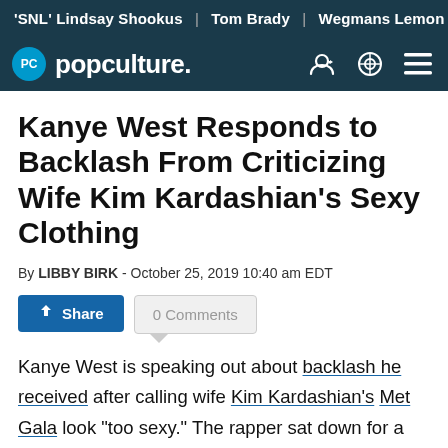'SNL' Lindsay Shookus | Tom Brady | Wegmans Lemon Dill F...
[Figure (logo): Popculture.com navigation bar with PC logo circle, 'popculture.' wordmark, and nav icons on dark blue background]
Kanye West Responds to Backlash From Criticizing Wife Kim Kardashian's Sexy Clothing
By LIBBY BIRK - October 25, 2019 10:40 am EDT
Share | 0 Comments
Kanye West is speaking out about backlash he received after calling wife Kim Kardashian's Met Gala look "too sexy." The rapper sat down for a lengthy interview with Beats 1's Zane Lowe on Apple Music, where he discussed the